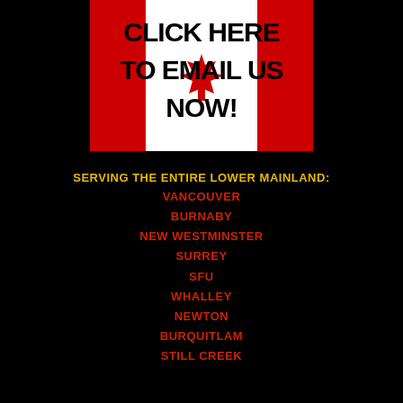[Figure (illustration): Red and white Canadian flag-style banner with bold black text reading 'CLICK HERE TO EMAIL US NOW!' with a red maple leaf graphic in the center]
SERVING THE ENTIRE LOWER MAINLAND:
VANCOUVER
BURNABY
NEW WESTMINSTER
SURREY
SFU
WHALLEY
NEWTON
BURQUITLAM
STILL CREEK